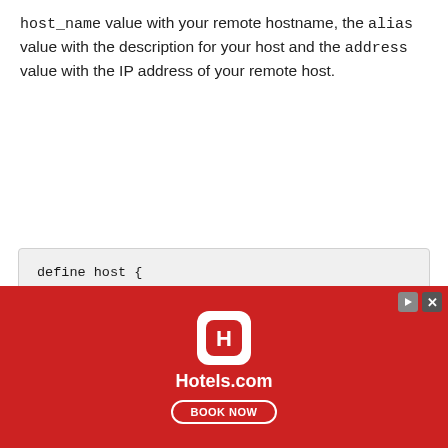host_name value with your remote hostname, the alias value with the description for your host and the address value with the IP address of your remote host.
define host {
        use linux-server
        host_name monitored_server_host_name
        alias My client server
        address monitored_server_private_ip
        max_check_attempts 5
        check_period
[Figure (other): Hotels.com advertisement banner with red background, Hotels.com logo icon, Hotels.com text, and BOOK NOW call-to-action button]